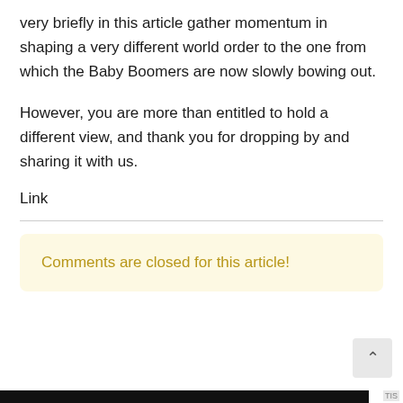very briefly in this article gather momentum in shaping a very different world order to the one from which the Baby Boomers are now slowly bowing out.
However, you are more than entitled to hold a different view, and thank you for dropping by and sharing it with us.
Link
Comments are closed for this article!